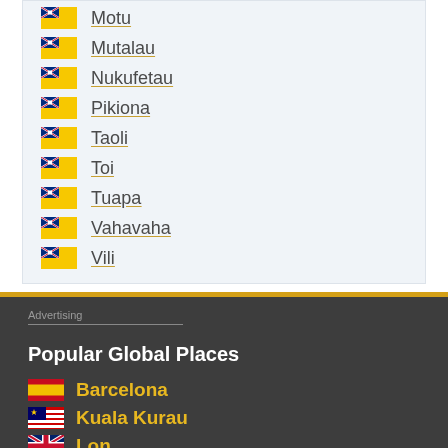Motu
Mutalau
Nukufetau
Pikiona
Taoli
Toi
Tuapa
Vahavaha
Vili
Advertising
Popular Global Places
Barcelona
Kuala Kurau
London (partial)